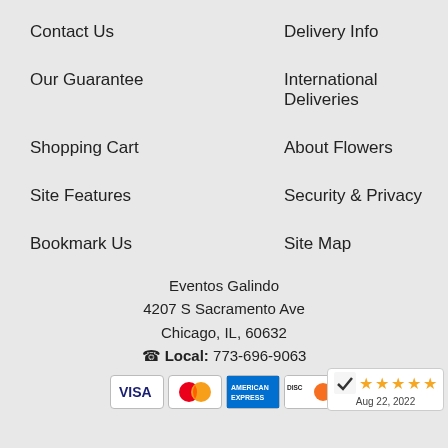Contact Us
Delivery Info
Our Guarantee
International Deliveries
Shopping Cart
About Flowers
Site Features
Security & Privacy
Bookmark Us
Site Map
Eventos Galindo
4207 S Sacramento Ave
Chicago, IL, 60632
☎ Local: 773-696-9063
[Figure (infographic): Payment method logos: Visa, MasterCard, American Express, Discover. Rating badge showing 5 stars and date Aug 22, 2022.]